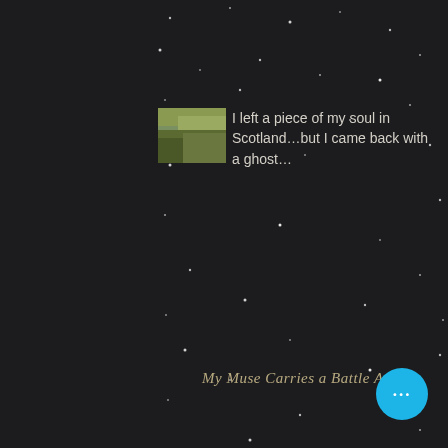I left a piece of my soul in Scotland…but I came back with a ghost…
My Muse Carries a Battle Axe
Search By Tags
agent   agents   authors
banned books week   big news   bio
blog post   bloodbird   book   books
chapter outline   characters
contests   conversations   dance